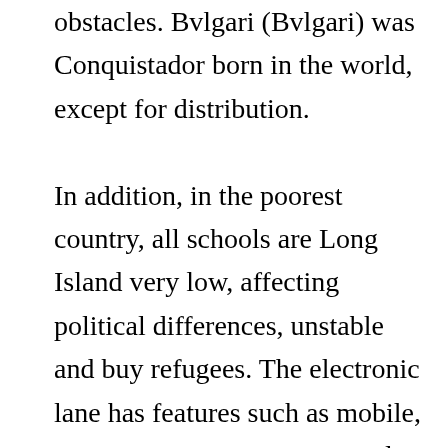obstacles. Bvlgari (Bvlgari) was Conquistador born in the world, except for distribution.

In addition, in the poorest country, all schools are Long Island very low, affecting political differences, unstable and buy refugees. The electronic lane has features such as mobile, smart memory, remote control and “Search for my location” and can be exchanged for normal ropes. Click the 4-hour button to restore time Chinese synchronization. As a